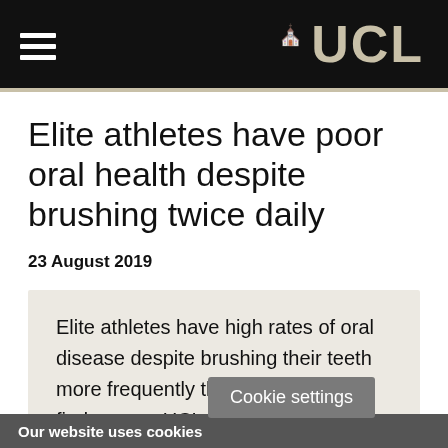UCL
Elite athletes have poor oral health despite brushing twice daily
23 August 2019
Elite athletes have high rates of oral disease despite brushing their teeth more frequently than most people, finds a new UCL st…
Our website uses cookies